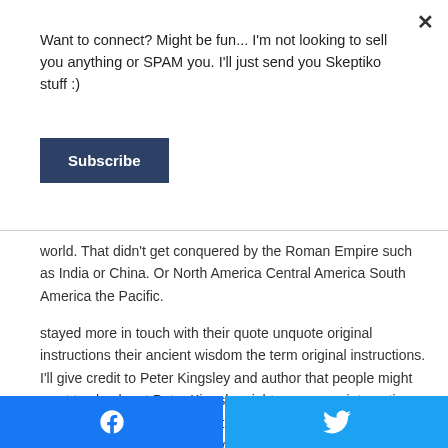Want to connect? Might be fun... I'm not looking to sell you anything or SPAM you. I'll just send you Skeptiko stuff :)
Subscribe
world. That didn't get conquered by the Roman Empire such as India or China. Or North America Central America South America the Pacific.
stayed more in touch with their quote unquote original instructions their ancient wisdom the term original instructions. I'll give credit to Peter Kingsley and author that people might want to check out Peter Kingsley right some very interesting. Analysis and fantastic books the original instructions of every culture won't it be nice if we were all still in touch with the original instructions